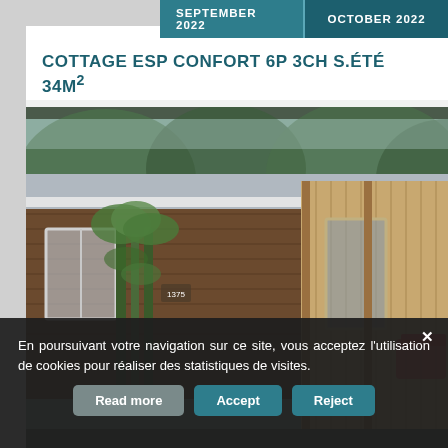SEPTEMBER 2022 | OCTOBER 2022
COTTAGE ESP CONFORT 6P 3CH S.ÉTÉ 34M²
[Figure (photo): Exterior photo of a holiday cottage/mobile home with a covered wooden terrace, brown wood cladding, large windows, and bamboo plants. Trees visible in the background.]
En poursuivant votre navigation sur ce site, vous acceptez l'utilisation de cookies pour réaliser des statistiques de visites.